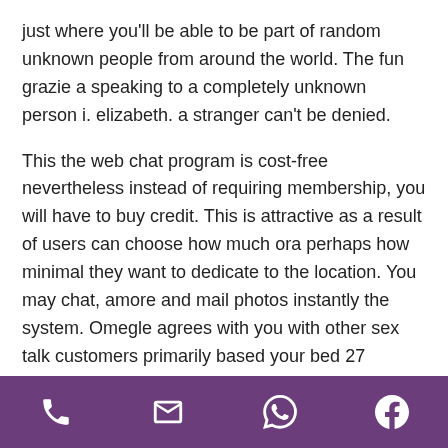just where you'll be able to be part of random unknown people from around the world. The fun grazie a speaking to a completely unknown person i. elizabeth. a stranger can't be denied.
This the web chat program is cost-free nevertheless instead of requiring membership, you will have to buy credit. This is attractive as a result of users can choose how much ora perhaps how minimal they want to dedicate to the location. You may chat, amore and mail photos instantly the system. Omegle agrees with you with other sex talk customers primarily based your bed 27 pursuits, so you need not undergo the trouble of finding an appropriate particular person nel corso di
[phone icon] [email icon] [whatsapp icon] [facebook icon]